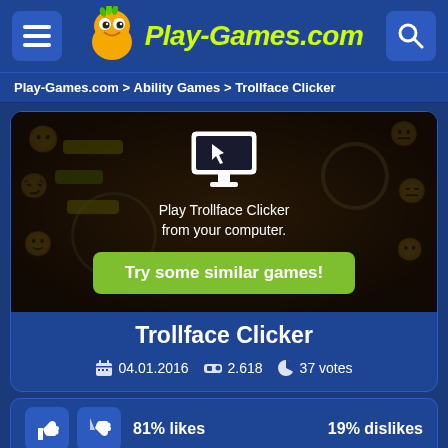Play-Games.com
Play-Games.com > Ability Games > Trollface Clicker
[Figure (screenshot): Trollface Clicker game thumbnail with a monitor icon overlay showing 'Play Trollface Clicker from your computer.' and a green 'Try some similar games!' button]
Trollface Clicker
04.01.2016   2.618   37 votes
81% likes   19% dislikes